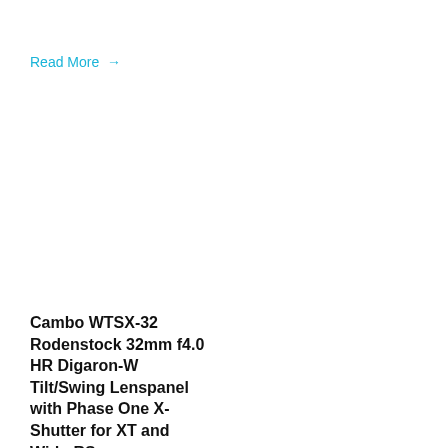Read More →
$14,300.00
Read More →
Cambo WTSX-32 Rodenstock 32mm f4.0 HR Digaron-W Tilt/Swing Lenspanel with Phase One X-Shutter for XT and Wide-RS
Cambo WTSX-40 Rodenstock 40mm f4.0 HR Digaron-W Tilt/Swing Lenspanel with Phase One X-Shutter for XT and Wide-RS